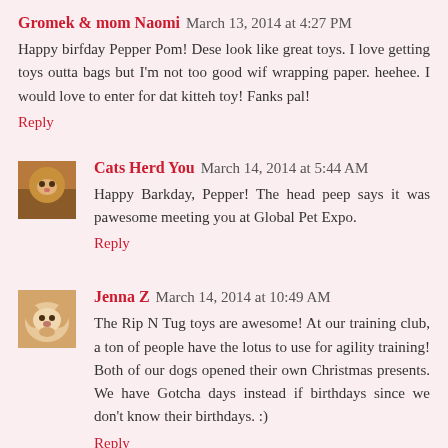Gromek & mom Naomi  March 13, 2014 at 4:27 PM
Happy birfday Pepper Pom! Dese look like great toys. I love getting toys outta bags but I'm not too good wif wrapping paper. heehee. I would love to enter for dat kitteh toy! Fanks pal!
Reply
[Figure (photo): Small avatar photo of cats]
Cats Herd You  March 14, 2014 at 5:44 AM
Happy Barkday, Pepper! The head peep says it was pawesome meeting you at Global Pet Expo.
Reply
[Figure (photo): Small avatar photo of a dog]
Jenna Z  March 14, 2014 at 10:49 AM
The Rip N Tug toys are awesome! At our training club, a ton of people have the lotus to use for agility training! Both of our dogs opened their own Christmas presents. We have Gotcha days instead if birthdays since we don't know their birthdays. :)
Reply